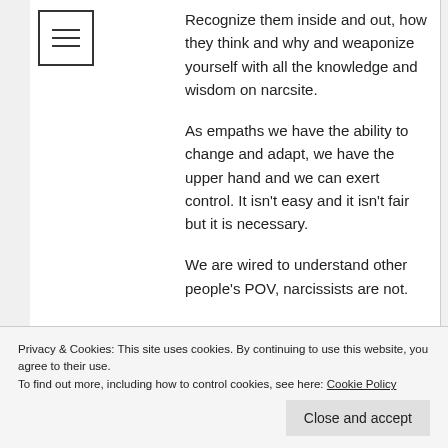Recognize them inside and out, how they think and why and weaponize yourself with all the knowledge and wisdom on narcsite.
As empaths we have the ability to change and adapt, we have the upper hand and we can exert control. It isn't easy and it isn't fair but it is necessary.
We are wired to understand other people's POV, narcissists are not.
Privacy & Cookies: This site uses cookies. By continuing to use this website, you agree to their use.
To find out more, including how to control cookies, see here: Cookie Policy